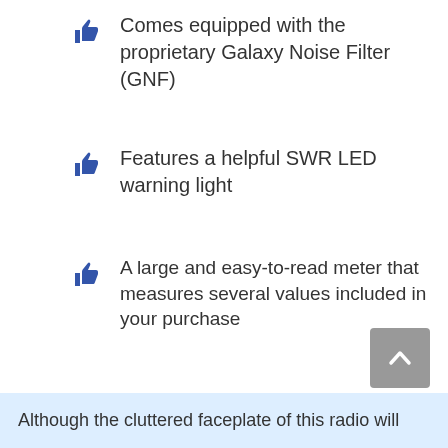Comes equipped with the proprietary Galaxy Noise Filter (GNF)
Features a helpful SWR LED warning light
A large and easy-to-read meter that measures several values included in your purchase
Easy to install with its small and compact design
Although the cluttered faceplate of this radio will